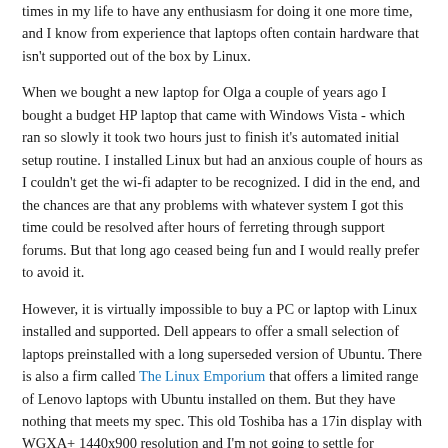times in my life to have any enthusiasm for doing it one more time, and I know from experience that laptops often contain hardware that isn't supported out of the box by Linux.
When we bought a new laptop for Olga a couple of years ago I bought a budget HP laptop that came with Windows Vista - which ran so slowly it took two hours just to finish it's automated initial setup routine. I installed Linux but had an anxious couple of hours as I couldn't get the wi-fi adapter to be recognized. I did in the end, and the chances are that any problems with whatever system I got this time could be resolved after hours of ferreting through support forums. But that long ago ceased being fun and I would really prefer to avoid it.
However, it is virtually impossible to buy a PC or laptop with Linux installed and supported. Dell appears to offer a small selection of laptops preinstalled with a long superseded version of Ubuntu. There is also a firm called The Linux Emporium that offers a limited range of Lenovo laptops with Ubuntu installed on them. But they have nothing that meets my spec. This old Toshiba has a 17in display with WGXA+ 1440x900 resolution and I'm not going to settle for anything